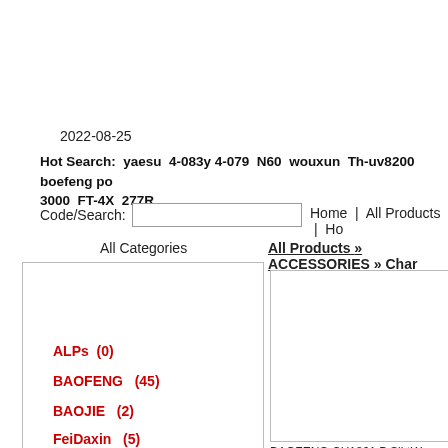2022-08-25
Hot Search:  yaesu  4-083y 4-079  N60  wouxun  Th-uv8200  boefeng po  3000  FT-4X  277R
Code/Search:
Home  |  All Products  |  Ho
All Categories
All Products » ACCESSORIES » Char
ALPs  (0)
BAOFENG   (45)
BAOJIE   (2)
FeiDaxin   (5)
[Figure (photo): Product image placeholder for BAOFENG CH1801 Desktop Battery Charger]
BAOFENG CH1801 Desktop Battery Charger for DM-1801, BE-H6
[Figure (photo): Product image placeholder for Six-Way BAOFENG 888S battery charger]
Six-Way BAOFENG 888S ba